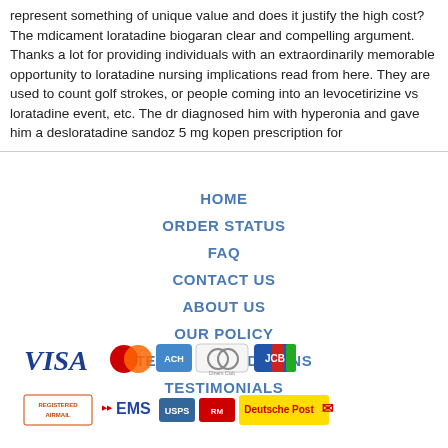represent something of unique value and does it justify the high cost? The mdicament loratadine biogaran clear and compelling argument. Thanks a lot for providing individuals with an extraordinarily memorable opportunity to loratadine nursing implications read from here. They are used to count golf strokes, or people coming into an levocetirizine vs loratadine event, etc. The dr diagnosed him with hyperonia and gave him a desloratadine sandoz 5 mg kopen prescription for
HOME
ORDER STATUS
FAQ
CONTACT US
ABOUT US
OUR POLICY
TERMS & CONDITIONS
TESTIMONIALS
[Figure (logo): Payment method logos: VISA, MasterCard, ACH, Diners Club, JCB]
[Figure (logo): Shipping logos: Registered Airmail, EMS, USPS, Royal Mail, Deutsche Post]